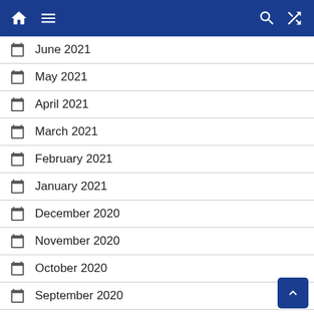Navigation bar with home, menu, search, and shuffle icons
June 2021
May 2021
April 2021
March 2021
February 2021
January 2021
December 2020
November 2020
October 2020
September 2020
August 2020